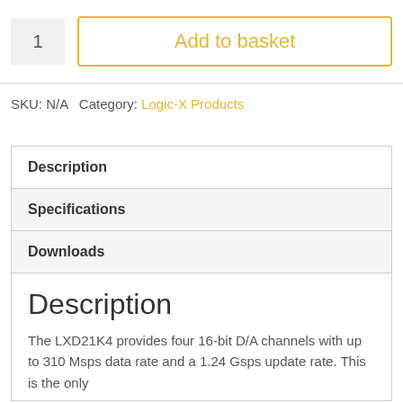1
Add to basket
SKU: N/A  Category: Logic-X Products
Description
Specifications
Downloads
Description
The LXD21K4 provides four 16-bit D/A channels with up to 310 Msps data rate and a 1.24 Gsps update rate. This is the only